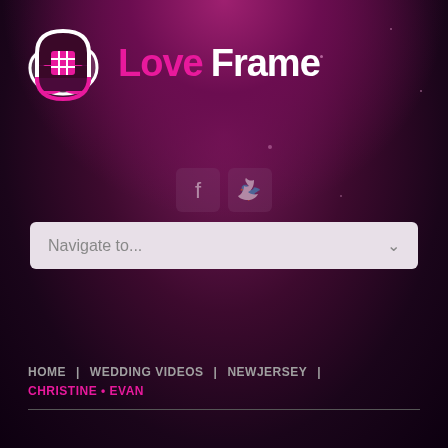[Figure (logo): Love Frame logo: pink cloud/heart icon with white grid overlay and text 'Love Frame' in white and pink]
[Figure (other): Facebook and Twitter social media icons in muted purple/pink]
Navigate to...
HOME | WEDDING VIDEOS | NEW JERSEY | CHRISTINE • EVAN